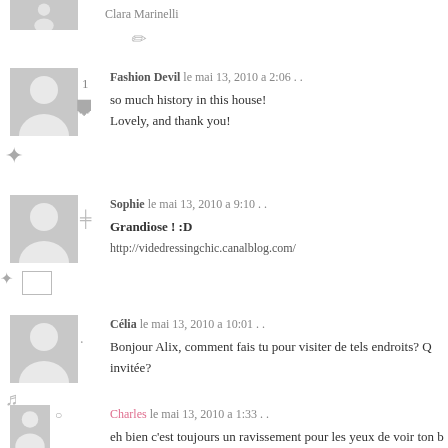Clara Marinelli
Fashion Devil le mai 13, 2010 a 2:06 . .
so much history in this house!
Lovely, and thank you!
Sophie le mai 13, 2010 a 9:10 . .
Grandiose ! :D
http://videdressingchic.canalblog.com/
Célia le mai 13, 2010 a 10:01 . .
Bonjour Alix, comment fais tu pour visiter de tels endroits? Q invitée?
Charles le mai 13, 2010 a 1:33 . .
eh bien c'est toujours un ravissement pour les yeux de voir ton b soleil de fin de journée surtout en ce printens triste! sinon je